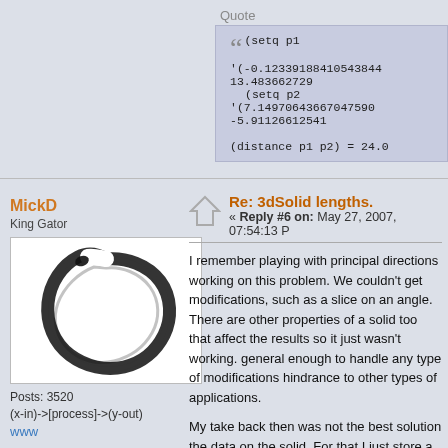Quote
(setq p1 '(-0.12339188410543844 13.4836627290...
(setq p2 '(7.14970643667047590 -5.91126612541...

(distance p1 p2) = 24.0
MickD
King Gator
[Figure (illustration): Ensō (Zen circle) brush painting avatar - black ink circle brush stroke on white background]
Posts: 3520
(x-in)->[process]->(y-out)
www
Re: 3dSolid lengths.
« Reply #6 on: May 27, 2007, 07:54:13 P
I remember playing with principal directions working on this problem. We couldn't get modifications, such as a slice on an angle. There are other properties of a solid too that affect the results so it just wasn't working. general enough to handle any type of modifications hindrance to other types of applications.
My take back then was not the best solution the data on the solid. For that I just store a point are basically the same thing) in xd has an update xdata method used whene was the best solution for what we were do